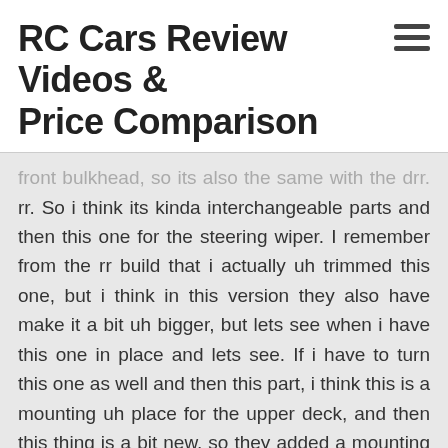RC Cars Review Videos & Price Comparison
front bulkhead, so its also the same with the drr. So i think its kinda interchangeable parts and then this one for the steering wiper. I remember from the rr build that i actually uh trimmed this one, but i think in this version they also have make it a bit uh bigger, but lets see when i have this one in place and lets see. If i have to turn this one as well and then this part, i think this is a mounting uh place for the upper deck, and then this thing is a bit new, so they added a mounting hole for the dumper tray. I believe there is a dumper tray somewhere there in the other bags so that it would be uh the traditional position of the dumper instead of the ifs from drr, but i think this similar part for the rr would